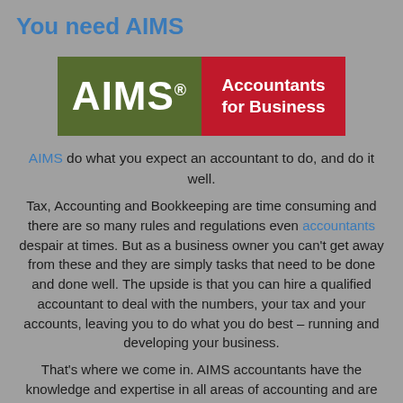You need AIMS
[Figure (logo): AIMS Accountants for Business logo — green rectangle on left with white text 'AIMS®', red rectangle on right with white text 'Accountants for Business']
AIMS do what you expect an accountant to do, and do it well.
Tax, Accounting and Bookkeeping are time consuming and there are so many rules and regulations even accountants despair at times. But as a business owner you can't get away from these and they are simply tasks that need to be done and done well. The upside is that you can hire a qualified accountant to deal with the numbers, your tax and your accounts, leaving you to do what you do best – running and developing your business.
That's where we come in. AIMS accountants have the knowledge and expertise in all areas of accounting and are more than happy to take on the bean counting and number crunching for you.